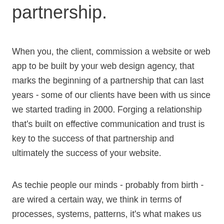partnership.
When you, the client, commission a website or web app to be built by your web design agency, that marks the beginning of a partnership that can last years - some of our clients have been with us since we started trading in 2000. Forging a relationship that’s built on effective communication and trust is key to the success of that partnership and ultimately the success of your website.
As techie people our minds - probably from birth - are wired a certain way, we think in terms of processes, systems, patterns, it’s what makes us tick and is probably what led us into the digital careers we find ourselves working in. But, and this is the important bit,